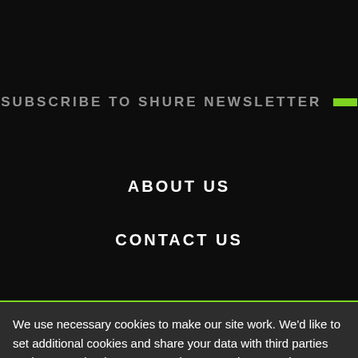SHURE CONFERENCING & MEETINGS
SUBSCRIBE TO SHURE NEWSLETTER
ABOUT US
CONTACT US
We use necessary cookies to make our site work. We'd like to set additional cookies and share your data with third parties such as Facebook Inc. or Google LLC to give you a better browsing experience, analyze
Learn More →
Agree and close